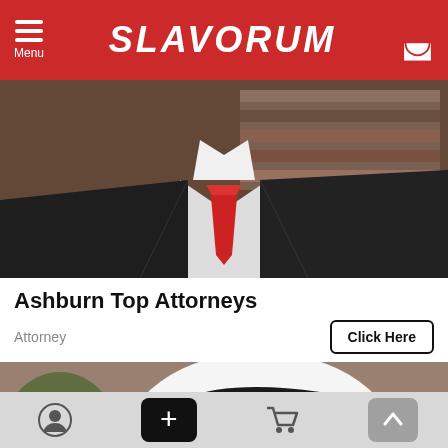SLAVORUM - Menu
[Figure (photo): Photo of a man in a dark suit with a red tie, torso visible, with bookshelves in background]
Ashburn Top Attorneys
Attorney
Click Here
[Figure (photo): Close-up photo of a person holding a white dome security camera showing its lens]
Navigation bar with profile, add, cart, and scroll-to-top icons